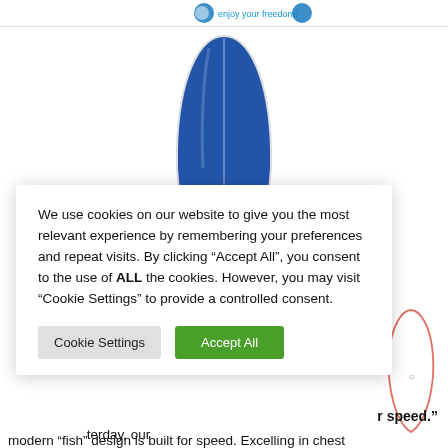[Figure (screenshot): Website screenshot showing a blue fish-style surfboard product image centered on a white background, with partial thumbnail images below, a cookie consent overlay dialog, and partial product description text at the bottom.]
We use cookies on our website to give you the most relevant experience by remembering your preferences and repeat visits. By clicking “Accept All”, you consent to the use of ALL the cookies. However, you may visit “Cookie Settings” to provide a controlled consent.
Cookie Settings   Accept All
r speed.”
terday, our modern “fish” design is built for speed. Excelling in chest